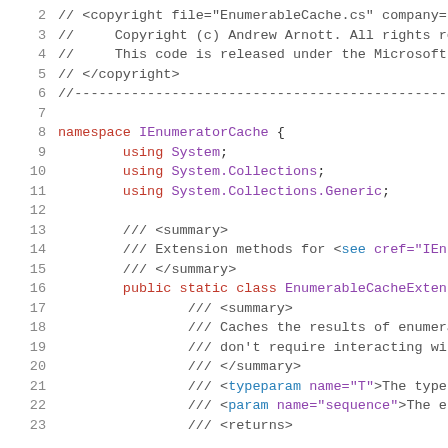[Figure (screenshot): Source code screenshot showing C# file EnumerableCache.cs with line numbers 2-23. Contains copyright comment block, namespace declaration for IEnumeratorCache, using statements for System, System.Collections, System.Collections.Generic, XML doc comments with summary and typeparam/param/returns tags, and a public static class EnumerableCacheExtens declaration.]